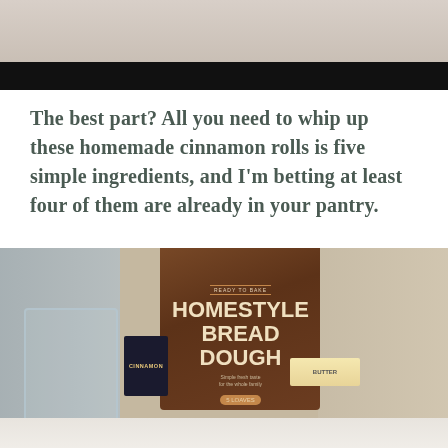[Figure (photo): Top portion of a photo showing a bowl and plant/leaves on a wood surface, with a black bar below it]
The best part? All you need to whip up these homemade cinnamon rolls is five simple ingredients, and I'm betting at least four of them are already in your pantry.
[Figure (photo): Photo of ingredients for cinnamon rolls on a kitchen counter: a bag of Kroger Homestyle Bread Dough, a box of Cinnamon, a stick of Butter, and a glass container, with a blurred living room in the background]